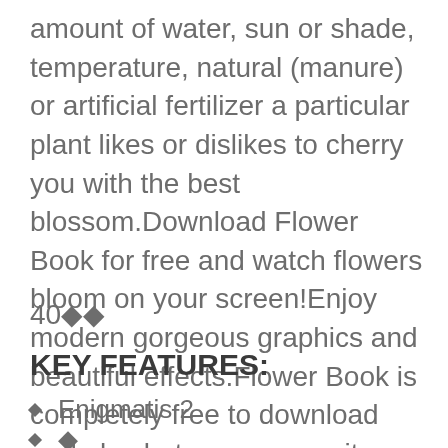amount of water, sun or shade, temperature, natural (manure) or artificial fertilizer a particular plant likes or dislikes to cherry you with the best blossom.Download Flower Book for free and watch flowers bloom on your screen!Enjoy modern gorgeous graphics and beautiful effects.Flower Book is completely free to download and play but some game items may be purchased for real money.Flowers! Casual fun! Garden gnomes! What's not to love?
40��
KEY FEATURES:
Enigmatis 2
�